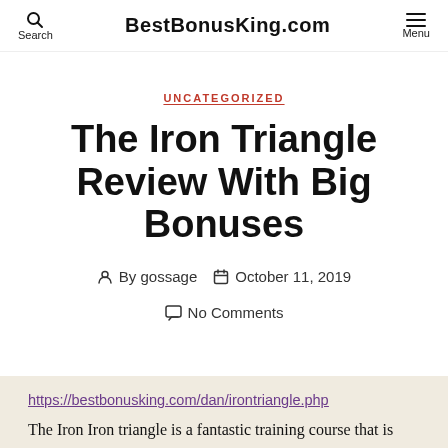Search | BestBonusKing.com | Menu
UNCATEGORIZED
The Iron Triangle Review With Big Bonuses
By gossage  October 11, 2019
No Comments
https://bestbonusking.com/dan/irontriangle.php
The Iron Iron triangle is a fantastic training course that is determined to get you to the 5 figure level fast...